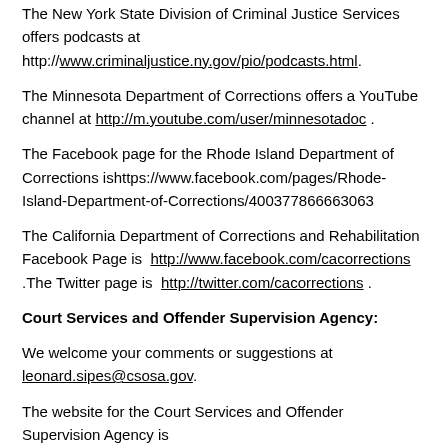The New York State Division of Criminal Justice Services offers podcasts at http://www.criminaljustice.ny.gov/pio/podcasts.html.
The Minnesota Department of Corrections offers a YouTube channel at http://m.youtube.com/user/minnesotadoc .
The Facebook page for the Rhode Island Department of Corrections is https://www.facebook.com/pages/Rhode-Island-Department-of-Corrections/400377866663063
The California Department of Corrections and Rehabilitation Facebook Page is http://www.facebook.com/cacorrections .The Twitter page is http://twitter.com/cacorrections .
Court Services and Offender Supervision Agency:
We welcome your comments or suggestions at leonard.sipes@csosa.gov.
The website for the Court Services and Offender Supervision Agency is